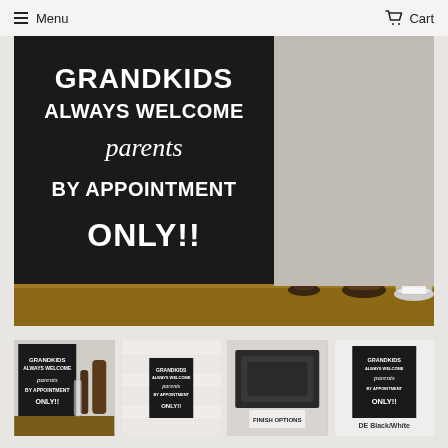Menu | Cart
[Figure (photo): Large photo of a black wooden sign reading 'GRANDKIDS ALWAYS WELCOME parents BY APPOINTMENT ONLY!!' displayed on a shelf next to wooden pepper mills and a glass salt shaker]
[Figure (photo): Thumbnail 1: small sign on shelf with pepper mills]
[Figure (photo): Thumbnail 2: small sign on white wood background]
[Figure (photo): Thumbnail 3: finish options showing black boxes labeled 'FINISH OPTIONS']
[Figure (photo): Thumbnail 4: sign labeled 'DE Black/White']